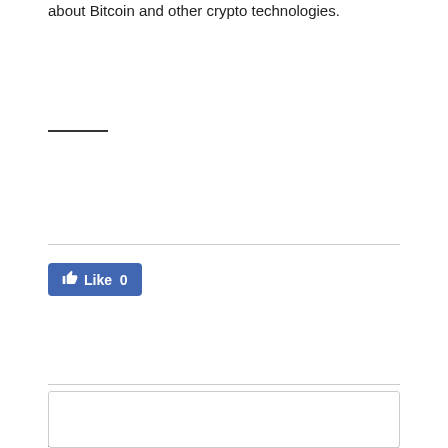about Bitcoin and other crypto technologies.
Previous article
Next article
Bitcoin Better at Tackling Rate Hikes than Ethereum, Stocks
Kraken's anarchist ideology drove its opposition to Bitcoin